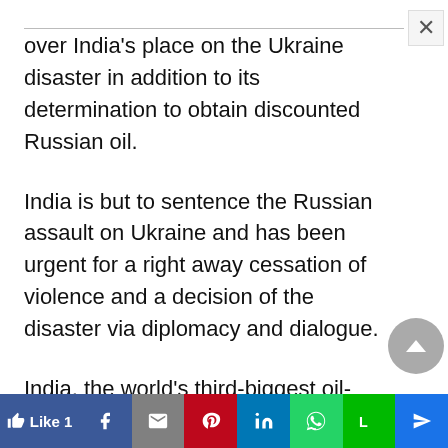over India's place on the Ukraine disaster in addition to its determination to obtain discounted Russian oil.
India is but to sentence the Russian assault on Ukraine and has been urgent for a right away cessation of violence and a decision of the disaster via diplomacy and dialogue.
India, the world's third-biggest oil-importing and consuming nation, has lengthy defended